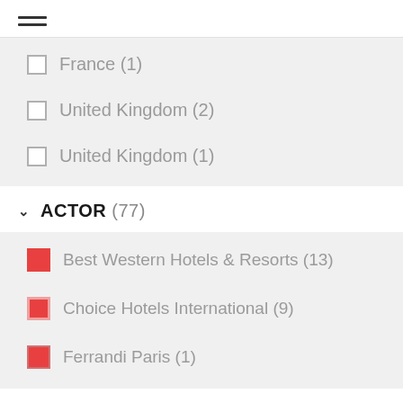[Figure (other): Hamburger menu icon with three horizontal lines]
France (1)
United Kingdom (2)
United Kingdom (1)
ACTOR (77)
Best Western Hotels & Resorts (13)
Choice Hotels International (9)
Ferrandi Paris (1)